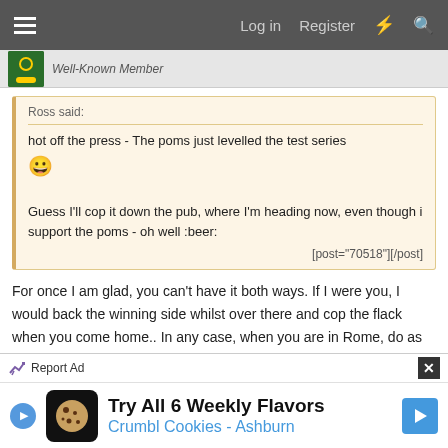Log in  Register
Well-Known Member
Ross said:
hot off the press - The poms just levelled the test series 😀

Guess I'll cop it down the pub, where I'm heading now, even though i support the poms - oh well :beer:
[post="70518"][/post]
For once I am glad, you can't have it both ways. If I were you, I would back the winning side whilst over there and cop the flack when you come home.. In any case, when you are in Rome, do as the Romans
[Figure (other): Advertisement banner: Try All 6 Weekly Flavors - Crumbl Cookies - Ashburn]